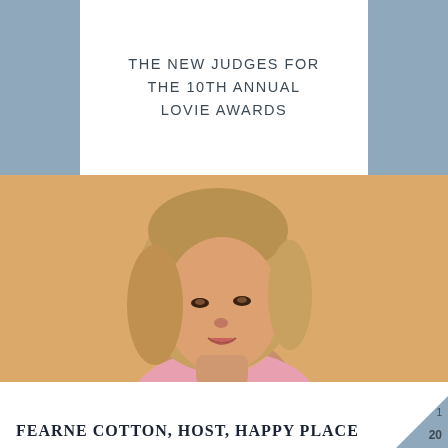THE NEW JUDGES FOR THE 10TH ANNUAL LOVIE AWARDS
[Figure (photo): Portrait photo of Fearne Cotton, a woman with blonde shoulder-length wavy hair wearing a pink knit sweater, photographed against an orange/tan background. She is tilting her head slightly and smiling gently.]
FEARNE COTTON, HOST, HAPPY PLACE
1
20